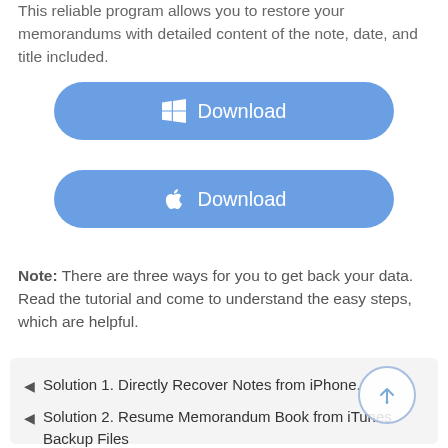This reliable program allows you to restore your memorandums with detailed content of the note, date, and title included.
[Figure (other): Blue rounded Download button with Windows logo icon]
[Figure (other): Blue rounded Download button with Apple logo icon]
Note: There are three ways for you to get back your data. Read the tutorial and come to understand the easy steps, which are helpful.
Solution 1. Directly Recover Notes from iPhone.
Solution 2. Resume Memorandum Book from iTunes Backup Files